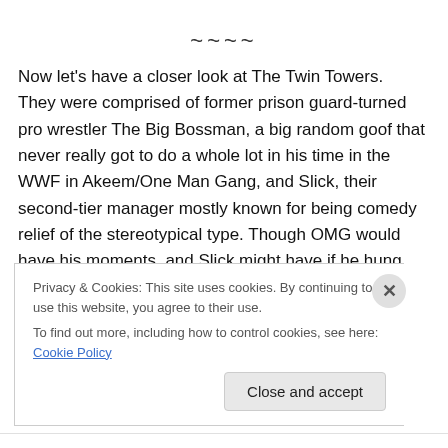~~~~
Now let's have a closer look at The Twin Towers.  They were comprised of former prison guard-turned pro wrestler The Big Bossman, a big random goof that never really got to do a whole lot in his time in the WWF in Akeem/One Man Gang, and Slick, their second-tier manager mostly known for being comedy relief of the stereotypical type. Though OMG would have his moments, and Slick might have if he hung around the business past 1992, only
Privacy & Cookies: This site uses cookies. By continuing to use this website, you agree to their use.
To find out more, including how to control cookies, see here: Cookie Policy